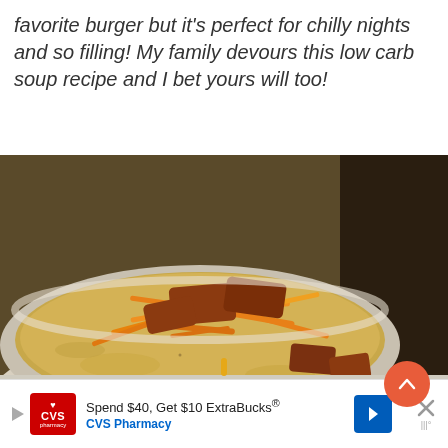favorite burger but it's perfect for chilly nights and so filling! My family devours this low carb soup recipe and I bet yours will too!
[Figure (photo): Close-up photo of a white soup mug filled with creamy soup topped with shredded cheddar cheese and crumbled bacon pieces. A coral/orange scroll-up button is visible in the lower right of the image.]
[Figure (infographic): CVS Pharmacy advertisement banner: 'Spend $40, Get $10 ExtraBucks® CVS Pharmacy' with CVS logo, blue directional arrow icon, and a close/dismiss X button.]